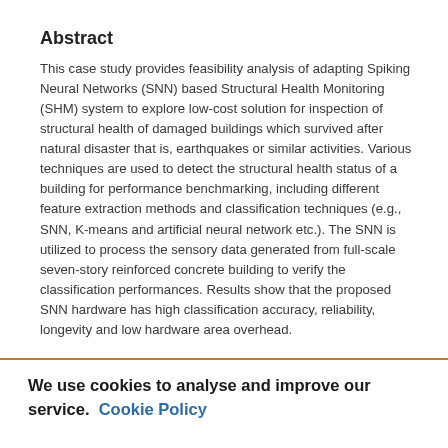Abstract
This case study provides feasibility analysis of adapting Spiking Neural Networks (SNN) based Structural Health Monitoring (SHM) system to explore low-cost solution for inspection of structural health of damaged buildings which survived after natural disaster that is, earthquakes or similar activities. Various techniques are used to detect the structural health status of a building for performance benchmarking, including different feature extraction methods and classification techniques (e.g., SNN, K-means and artificial neural network etc.). The SNN is utilized to process the sensory data generated from full-scale seven-story reinforced concrete building to verify the classification performances. Results show that the proposed SNN hardware has high classification accuracy, reliability, longevity and low hardware area overhead.
We use cookies to analyse and improve our service. Cookie Policy